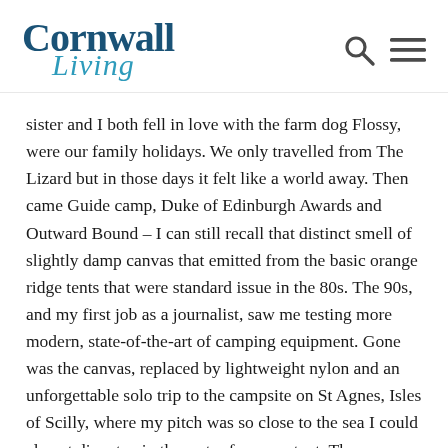Cornwall Living
sister and I both fell in love with the farm dog Flossy, were our family holidays. We only travelled from The Lizard but in those days it felt like a world away. Then came Guide camp, Duke of Edinburgh Awards and Outward Bound – I can still recall that distinct smell of slightly damp canvas that emitted from the basic orange ridge tents that were standard issue in the 80s. The 90s, and my first job as a journalist, saw me testing more modern, state-of-the-art of camping equipment. Gone was the canvas, replaced by lightweight nylon and an unforgettable solo trip to the campsite on St Agnes, Isles of Scilly, where my pitch was so close to the sea I could almost dip a toe in the water from my tent. The 'naughties' arrived and with it my beloved Type 2 VW camper van, Betsy. She was a splendid surf bus and a comfy bed on many a beach party night, she even